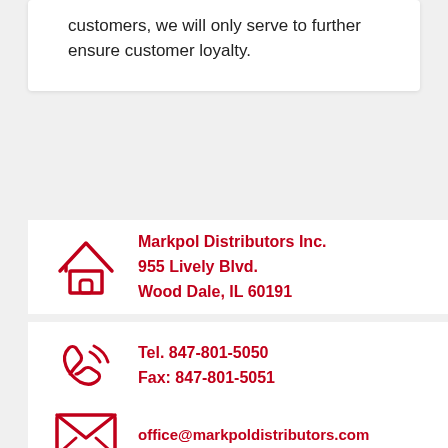customers, we will only serve to further ensure customer loyalty.
Markpol Distributors Inc.
955 Lively Blvd.
Wood Dale, IL 60191
Tel. 847-801-5050
Fax: 847-801-5051
office@markpoldistributors.com